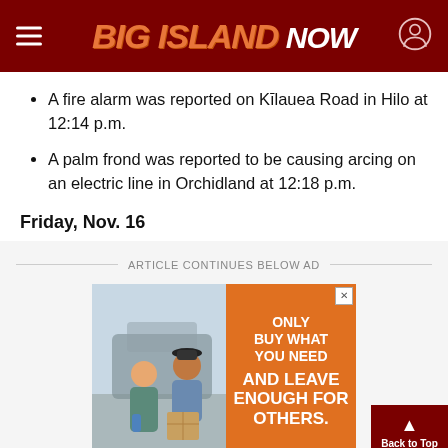Big Island Now
A fire alarm was reported on Kīlauea Road in Hilo at 12:14 p.m.
A palm frond was reported to be causing arcing on an electric line in Orchidland at 12:18 p.m.
Friday, Nov. 16
ARTICLE CONTINUES BELOW AD
[Figure (photo): Advertisement showing two people loading boxes/supplies into a vehicle, with orange panel reading: ONLY BUY WHAT YOU NEED AND LEAVE ENOUGH FOR OTHERS.]